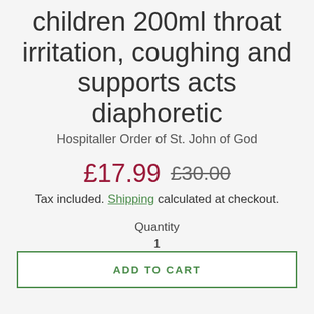children 200ml throat irritation, coughing and supports acts diaphoretic
Hospitaller Order of St. John of God
£17.99  £30.00
Tax included. Shipping calculated at checkout.
Quantity
1
ADD TO CART